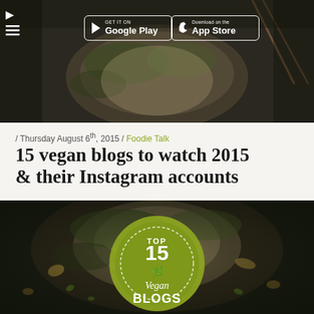[Figure (screenshot): Website header with food photograph background (dark bowl with vegetables/salad), navigation icons top-left (triangle and hamburger menu), and two app store buttons: 'GET IT ON Google Play' and 'Download on the App Store']
/ Thursday August 6th, 2015 / Foodie Talk
15 vegan blogs to watch 2015 & their Instagram accounts
[Figure (photo): Food photograph with dark background showing a dish with vegetables, nuts, and greens, overlaid with a yellow-green circular badge reading 'TOP 15 Vegan BLOGS']